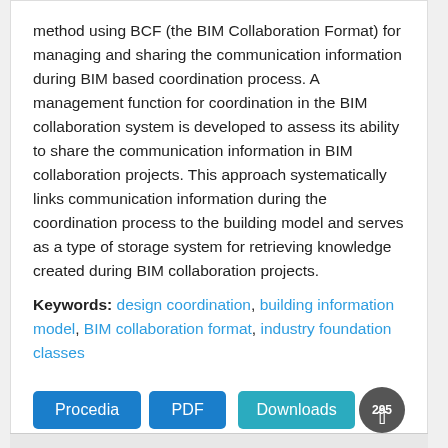method using BCF (the BIM Collaboration Format) for managing and sharing the communication information during BIM based coordination process. A management function for coordination in the BIM collaboration system is developed to assess its ability to share the communication information in BIM collaboration projects. This approach systematically links communication information during the coordination process to the building model and serves as a type of storage system for retrieving knowledge created during BIM collaboration projects.
Keywords: design coordination, building information model, BIM collaboration format, industry foundation classes